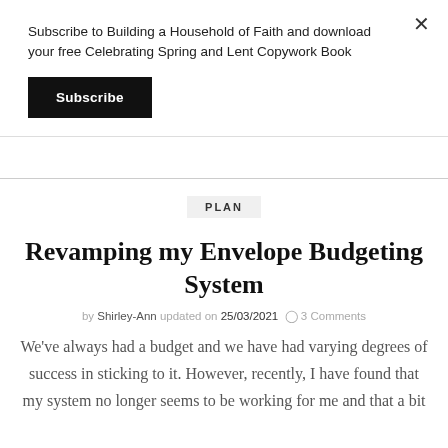Subscribe to Building a Household of Faith and download your free Celebrating Spring and Lent Copywork Book
Subscribe
PLAN
Revamping my Envelope Budgeting System
by Shirley-Ann updated on 25/03/2021  3 Comments
We've always had a budget and we have had varying degrees of success in sticking to it. However, recently, I have found that my system no longer seems to be working for me and that a bit